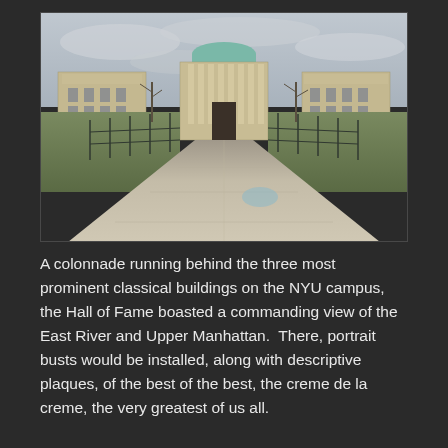[Figure (photo): Photograph of a grand classical campus with three prominent neoclassical buildings. The central building has a domed rotunda with columns. A long concrete walkway leads toward the buildings, flanked by green lawns and metal fences. Bare winter trees are visible. Overcast sky.]
A colonnade running behind the three most prominent classical buildings on the NYU campus, the Hall of Fame boasted a commanding view of the East River and Upper Manhattan.  There, portrait busts would be installed, along with descriptive plaques, of the best of the best, the creme de la creme, the very greatest of us all.